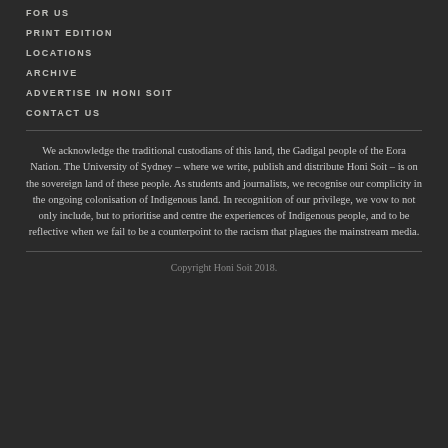FOR US
PRINT EDITION
LOCATIONS
ARCHIVE
ADVERTISE IN HONI SOIT
CONTACT US
We acknowledge the traditional custodians of this land, the Gadigal people of the Eora Nation. The University of Sydney – where we write, publish and distribute Honi Soit – is on the sovereign land of these people. As students and journalists, we recognise our complicity in the ongoing colonisation of Indigenous land. In recognition of our privilege, we vow to not only include, but to prioritise and centre the experiences of Indigenous people, and to be reflective when we fail to be a counterpoint to the racism that plagues the mainstream media.
Copyright Honi Soit 2018.